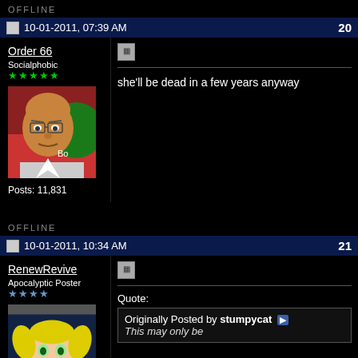OFFLINE
10-01-2011, 07:39 AM  20
Order 66
Socialphobic
★★★★★
[Figure (photo): Cartoon avatar of a bald man with glasses, from King of the Hill animation style]
Posts: 11,831
she'll be dead in a few years anyway
OFFLINE
10-01-2011, 10:34 AM  21
RenewRevive
Apocalyptic Poster
★★★★
[Figure (photo): Cartoon avatar of an anime-style character with yellow twin tails]
Quote:
Originally Posted by stumpycat ▶
This may only be